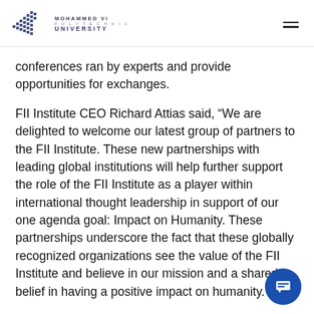Mohammed VI Polytechnic University
conferences ran by experts and provide opportunities for exchanges.
FII Institute CEO Richard Attias said, “We are delighted to welcome our latest group of partners to the FII Institute. These new partnerships with leading global institutions will help further support the role of the FII Institute as a player within international thought leadership in support of our one agenda goal: Impact on Humanity. These partnerships underscore the fact that these globally recognized organizations see the value of the FII Institute and believe in our mission and a shared belief in having a positive impact on humanity.